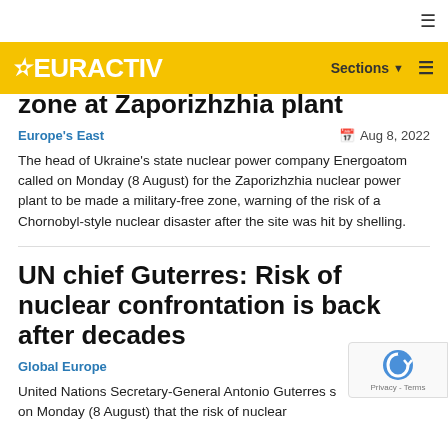EURACTIV — Sections ☰
zone at Zaporizhzhia plant
Europe's East   Aug 8, 2022
The head of Ukraine's state nuclear power company Energoatom called on Monday (8 August) for the Zaporizhzhia nuclear power plant to be made a military-free zone, warning of the risk of a Chornobyl-style nuclear disaster after the site was hit by shelling.
UN chief Guterres: Risk of nuclear confrontation is back after decades
Global Europe   Aug 8,
United Nations Secretary-General Antonio Guterres s... on Monday (8 August) that the risk of nuclear